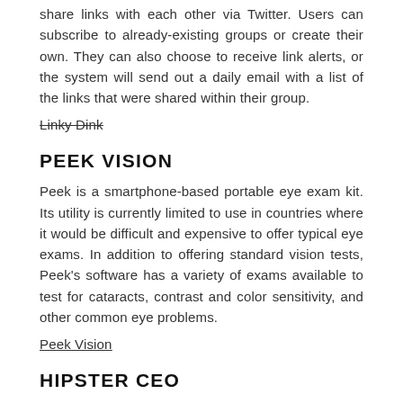share links with each other via Twitter. Users can subscribe to already-existing groups or create their own. They can also choose to receive link alerts, or the system will send out a daily email with a list of the links that were shared within their group.
Linky Dink (strikethrough)
PEEK VISION
Peek is a smartphone-based portable eye exam kit. Its utility is currently limited to use in countries where it would be difficult and expensive to offer typical eye exams. In addition to offering standard vision tests, Peek's software has a variety of exams available to test for cataracts, contrast and color sensitivity, and other common eye problems.
Peek Vision
HIPSTER CEO
Hipster CEO is an iPhone app that lets you play